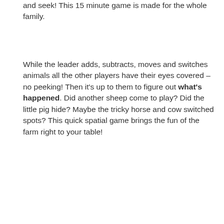and seek! This 15 minute game is made for the whole family.
While the leader adds, subtracts, moves and switches animals all the other players have their eyes covered – no peeking! Then it's up to them to figure out what's happened. Did another sheep come to play? Did the little pig hide? Maybe the tricky horse and cow switched spots? This quick spatial game brings the fun of the farm right to your table!
[Figure (screenshot): YouTube video player screenshot showing a DEVIR channel video titled 'How to Play - 1, 2, 3' with a person visible in the thumbnail and a partial DE logo visible on the right side]